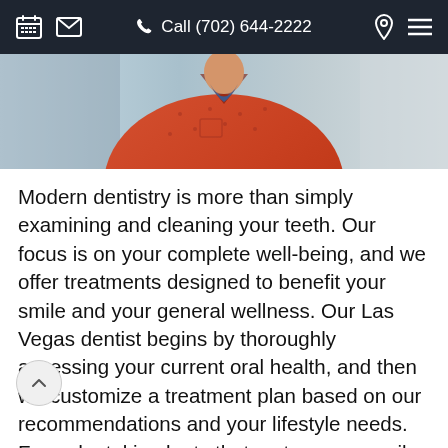Call (702) 644-2222
[Figure (photo): Photo of a person wearing an orange/red patterned shirt, cropped to show torso and lower face, with a light blue/grey background]
Modern dentistry is more than simply examining and cleaning your teeth. Our focus is on your complete well-being, and we offer treatments designed to benefit your smile and your general wellness. Our Las Vegas dentist begins by thoroughly assessing your current oral health, and then we customize a treatment plan based on our recommendations and your lifestyle needs. From dental implants that restore your smile to removing stains with our teeth whitening services, our team is knowledgeable and well-equipped to handle your requests and needs.